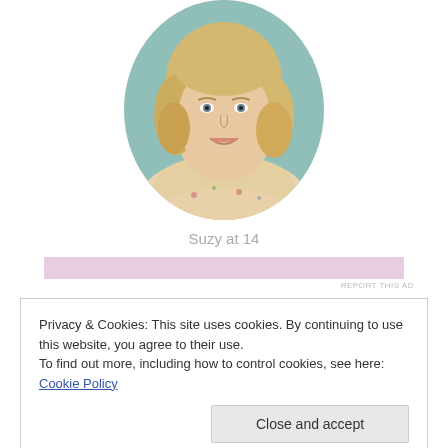[Figure (photo): Oval-framed vintage school portrait photo of a young girl (Suzy) with blonde shoulder-length hair, smiling, wearing a floral off-shoulder top, circa 1970s style]
Suzy at 14
[Figure (other): Pink/mauve horizontal ad banner with 'REPORT THIS AD' text in small grey letters at the right]
Privacy & Cookies: This site uses cookies. By continuing to use this website, you agree to their use.
To find out more, including how to control cookies, see here: Cookie Policy
Close and accept
discovered a beautiful, sleepy, small town in Western